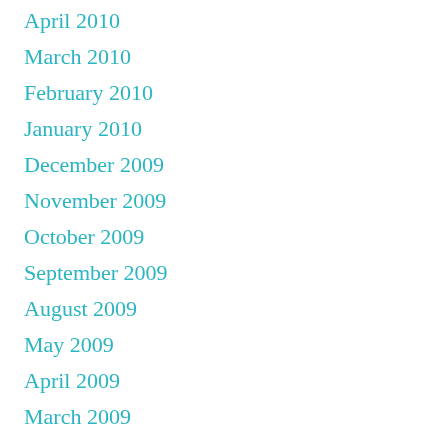April 2010
March 2010
February 2010
January 2010
December 2009
November 2009
October 2009
September 2009
August 2009
May 2009
April 2009
March 2009